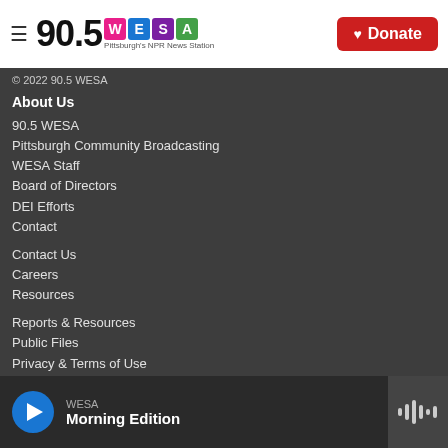90.5 WESA — Pittsburgh's NPR News Station | Donate
© 2022 90.5 WESA
About Us
90.5 WESA
Pittsburgh Community Broadcasting
WESA Staff
Board of Directors
DEI Efforts
Contact
Contact Us
Careers
Resources
Reports & Resources
Public Files
Privacy & Terms of Use
COVID-19
FCC Applications
WESA — Morning Edition